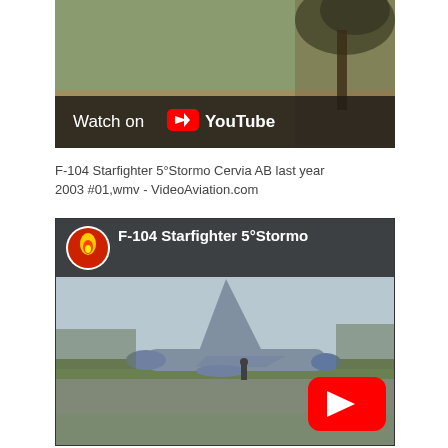[Figure (screenshot): YouTube video thumbnail showing 'Watch on YouTube' overlay on a outdoor/nature background with trees]
F-104 Starfighter 5°Stormo Cervia AB last year 2003 #01,wmv - VideoAviation.com
[Figure (screenshot): YouTube embedded video thumbnail showing F-104 Starfighter 5°Stormo aircraft on tarmac with a person nearby, channel icon in top left, video title 'F-104 Starfighter 5°Stormo' at top, red YouTube play button at bottom right]